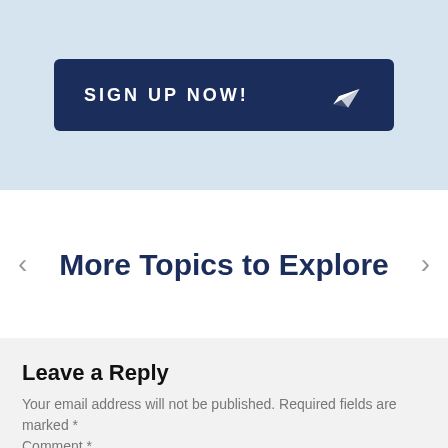[Figure (other): Dark navy blue button with text SIGN UP NOW! and a paper plane icon on the right, on a light blue background]
More Topics to Explore
Leave a Reply
Your email address will not be published. Required fields are marked *
Comment *